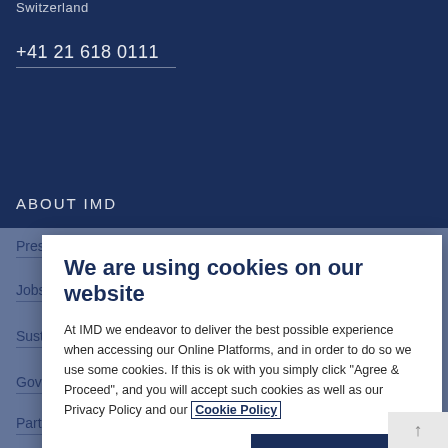Switzerland
+41 21 618 0111
ABOUT IMD
Press
Jobs
Sustainability
Governance
Partners
We are using cookies on our website
At IMD we endeavor to deliver the best possible experience when accessing our Online Platforms, and in order to do so we use some cookies. If this is ok with you simply click "Agree & Proceed", and you will accept such cookies as well as our Privacy Policy and our Cookie Policy
Customize settings
Agree & Proceed